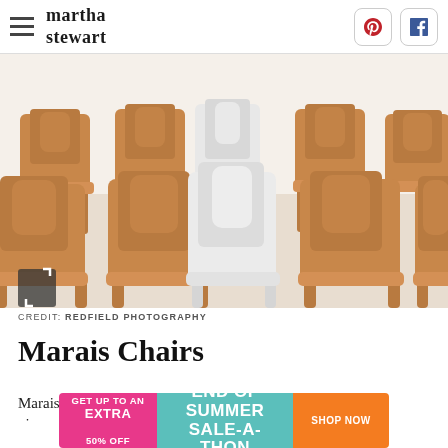martha stewart
[Figure (photo): Rows of copper/rose gold metal Marais-style chairs with one white chair in the center, set for an event in a bright airy space]
CREDIT: REDFIELD PHOTOGRAPHY
Marais Chairs
Marais (or tolix) chairs are contemporary metal pieces... in
[Figure (infographic): Advertisement banner: GET UP TO AN EXTRA 50% OFF | END OF SUMMER SALE-A-THON | SHOP NOW]